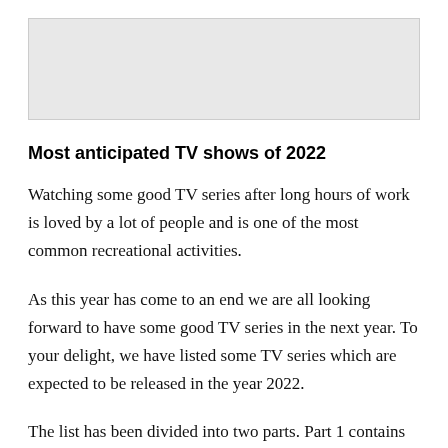[Figure (photo): Placeholder image area at top of article, light gray rectangle]
Most anticipated TV shows of 2022
Watching some good TV series after long hours of work is loved by a lot of people and is one of the most common recreational activities.
As this year has come to an end we are all looking forward to have some good TV series in the next year. To your delight, we have listed some TV series which are expected to be released in the year 2022.
The list has been divided into two parts. Part 1 contains the names of those TV series which will b